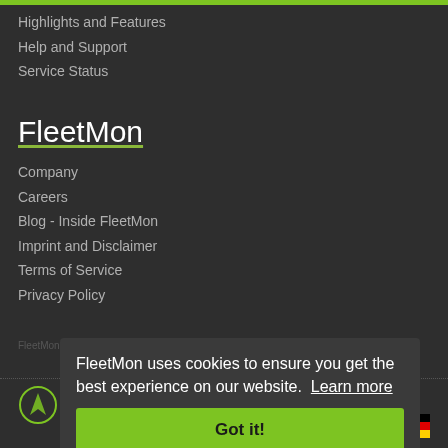Highlights and Features
Help and Support
Service Status
FleetMon
Company
Careers
Blog - Inside FleetMon
Imprint and Disclaimer
Terms of Service
Privacy Policy
FleetMon is the pioneer AIS live vessel tracking community founded in 2007
© FleetMon
All rights reserved
★ MADE IN GERMANY
FleetMon uses cookies to ensure you get the best experience on our website. Learn more
Got it!